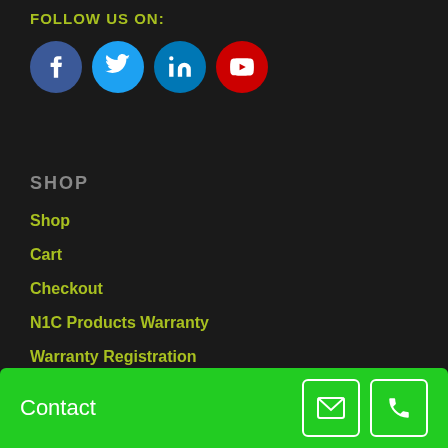FOLLOW US ON:
[Figure (illustration): Social media icons: Facebook (blue circle with f), Twitter (cyan circle with bird), LinkedIn (blue circle with in), YouTube (red circle with play button)]
SHOP
Shop
Cart
Checkout
N1C Products Warranty
Warranty Registration
Contact